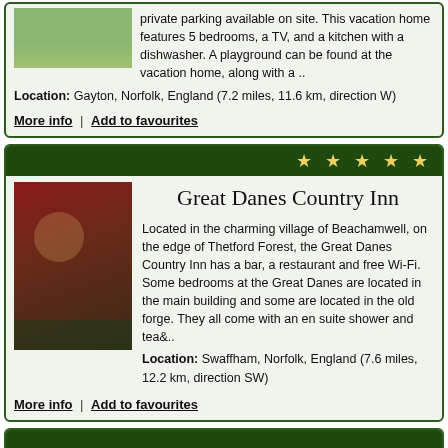private parking available on site. This vacation home features 5 bedrooms, a TV, and a kitchen with a dishwasher. A playground can be found at the vacation home, along with a ..
Location: Gayton, Norfolk, England (7.2 miles, 11.6 km, direction W)
More info | Add to favourites
Great Danes Country Inn
Located in the charming village of Beachamwell, on the edge of Thetford Forest, the Great Danes Country Inn has a bar, a restaurant and free Wi-Fi. Some bedrooms at the Great Danes are located in the main building and some are located in the old forge. They all come with an en suite shower and tea&..
Location: Swaffham, Norfolk, England (7.6 miles, 12.2 km, direction SW)
More info | Add to favourites